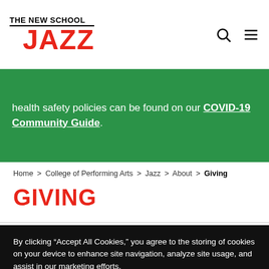THE NEW SCHOOL JAZZ
health safety policies can be found on our COVID-19 Community Guide.
Home > College of Performing Arts > Jazz > About > Giving
GIVING
By clicking “Accept All Cookies,” you agree to the storing of cookies on your device to enhance site navigation, analyze site usage, and assist in our marketing efforts.
Cookie Statement
Customize Settings
Accept All Cookies